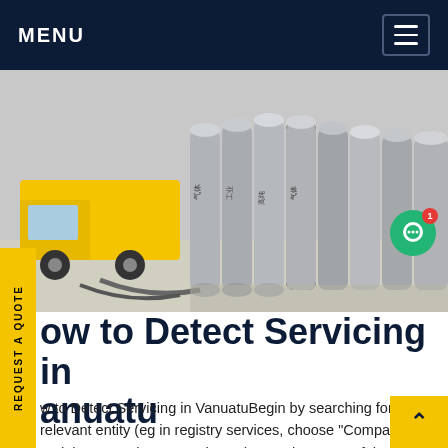MENU
[Figure (photo): Photo of industrial gas cylinders/tanks lined up outdoors next to a yellow truck]
How to Detect Servicing in Vanuatu
How to Detect Servicing in VanuatuBegin by searching for the relevant entity (eg in registry services, choose "Companies" and then " Register Search" and enter the name of the entity) and